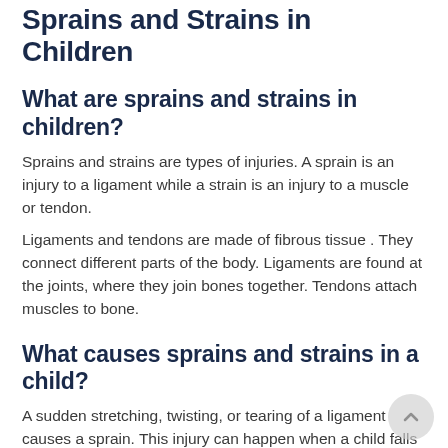Sprains and Strains in Children
What are sprains and strains in children?
Sprains and strains are types of injuries. A sprain is an injury to a ligament while a strain is an injury to a muscle or tendon.
Ligaments and tendons are made of fibrous tissue . They connect different parts of the body. Ligaments are found at the joints, where they join bones together. Tendons attach muscles to bone.
What causes sprains and strains in a child?
A sudden stretching, twisting, or tearing of a ligament causes a sprain. This injury can happen when a child falls or suffers a hit to the body. Sprains often affect the ankles, knees, or wrists.
A pulling or tearing of a muscle or a tendon causes a strain. This